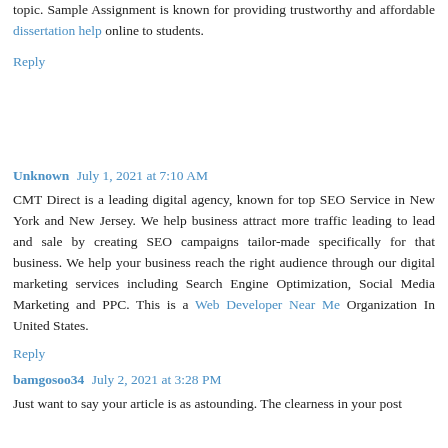topic. Sample Assignment is known for providing trustworthy and affordable dissertation help online to students.
Reply
Unknown July 1, 2021 at 7:10 AM
CMT Direct is a leading digital agency, known for top SEO Service in New York and New Jersey. We help business attract more traffic leading to lead and sale by creating SEO campaigns tailor-made specifically for that business. We help your business reach the right audience through our digital marketing services including Search Engine Optimization, Social Media Marketing and PPC. This is a Web Developer Near Me Organization In United States.
Reply
bamgosoo34 July 2, 2021 at 3:28 PM
Just want to say your article is as astounding. The clearness in your post